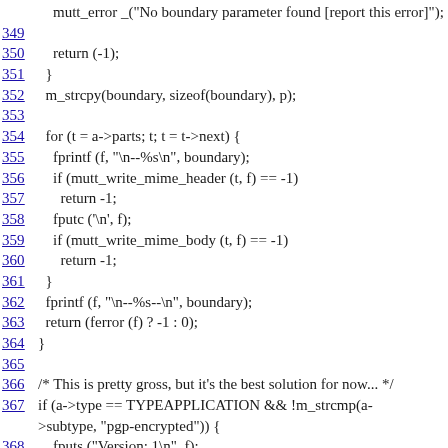mutt_error _("No boundary parameter found [report this error]");
349
350    return (-1);
351    }
352    m_strcpy(boundary, sizeof(boundary), p);
353
354    for (t = a->parts; t; t = t->next) {
355      fprintf (f, "\n--%s\n", boundary);
356      if (mutt_write_mime_header (t, f) == -1)
357        return -1;
358      fputc ('\n', f);
359      if (mutt_write_mime_body (t, f) == -1)
360        return -1;
361    }
362    fprintf (f, "\n--%s--\n", boundary);
363    return (ferror (f) ? -1 : 0);
364  }
365
366  /* This is pretty gross, but it's the best solution for now... */
367  if (a->type == TYPEAPPLICATION && !m_strcmp(a->subtype, "pgp-encrypted")) {
368    fputs ("Version: 1\n", f);
369    return 0;
370  }
371
372  if ((fpin = fopen (a->filename, "r")) == NULL) {